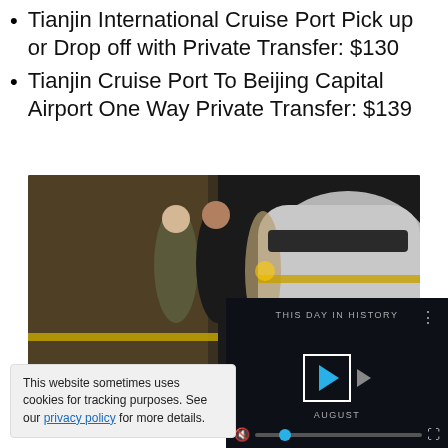Tianjin International Cruise Port Pick up or Drop off with Private Transfer: $130
Tianjin Cruise Port To Beijing Capital Airport One Way Private Transfer: $139
[Figure (photo): Two people standing in front of a high-speed train at a station platform. A dark overlay in the bottom-right corner reads 'More Options'.]
Hired Cars and
[Figure (screenshot): A video player panel with dark background showing 'THIS DAY IN HISTORY' text, blue play button, AUGUST label, progress bar with blue dot, mute and fullscreen icons.]
This website sometimes uses cookies for tracking purposes. See our privacy policy for more details.